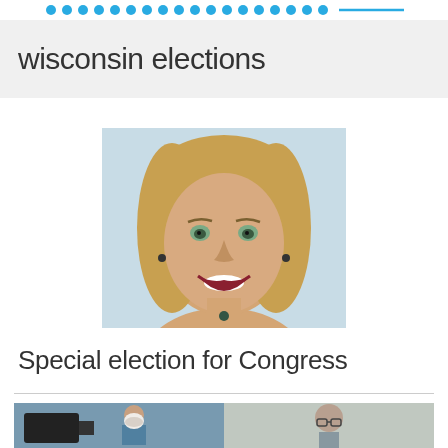• • • • • • • • • • • • • • • • • •
wisconsin elections
[Figure (photo): Headshot of a smiling woman with shoulder-length blonde hair, green eyes, and dark red lipstick, wearing a dark top and earrings, on a light blue background.]
Special election for Congress
[Figure (photo): Two photos side by side: left shows a person wearing a mask near equipment; right shows a person with glasses.]